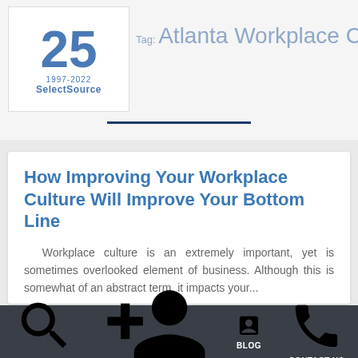[Figure (logo): SelectSource 25th anniversary logo (1997-2022) with large blue '25' numeral and company name]
Tag: Atlanta Workplace Culture
How Improving Your Workplace Culture Will Improve Your Bottom Line
Workplace culture is an extremely important, yet is sometimes overlooked element of business. Although this is somewhat of an abstract term, it impacts your...
READ MORE »
SEARCH JOBS | REQUEST AN EMPLOYEE | BLOG | CONTACT US